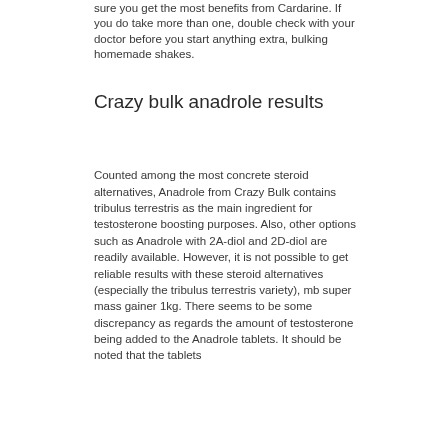sure you get the most benefits from Cardarine. If you do take more than one, double check with your doctor before you start anything extra, bulking homemade shakes.
Crazy bulk anadrole results
Counted among the most concrete steroid alternatives, Anadrole from Crazy Bulk contains tribulus terrestris as the main ingredient for testosterone boosting purposes. Also, other options such as Anadrole with 2A-diol and 2D-diol are readily available. However, it is not possible to get reliable results with these steroid alternatives (especially the tribulus terrestris variety), mb super mass gainer 1kg. There seems to be some discrepancy as regards the amount of testosterone being added to the Anadrole tablets. It should be noted that the tablets